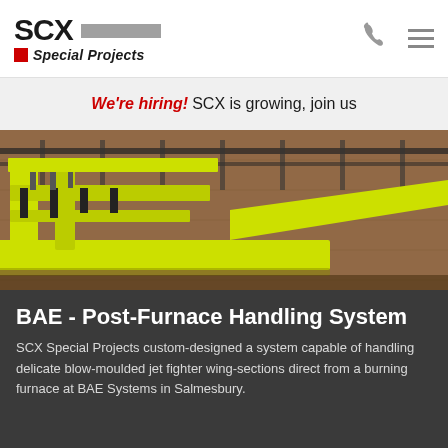[Figure (logo): SCX Special Projects logo with red square, bold SCX text and grey bar]
We're hiring! SCX is growing, join us
[Figure (photo): Yellow industrial post-furnace handling system equipment inside a warehouse with wooden background]
BAE - Post-Furnace Handling System
SCX Special Projects custom-designed a system capable of handling delicate blow-moulded jet fighter wing-sections direct from a burning furnace at BAE Systems in Salmesbury.